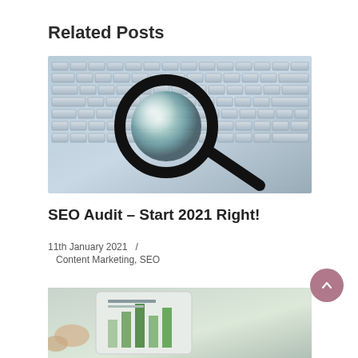Related Posts
[Figure (photo): A magnifying glass resting on a laptop keyboard, close-up photo with blue-grey tones]
SEO Audit – Start 2021 Right!
11th January 2021   /   Content Marketing, SEO
[Figure (photo): Partial photo of a mobile device with a chart/graph visible, fingers holding device]